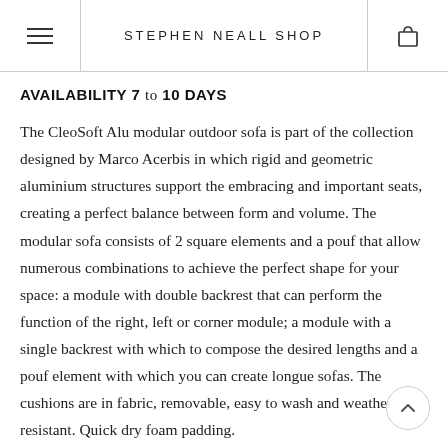STEPHEN NEALL SHOP
AVAILABILITY 7 to 10 DAYS
The CleoSoft Alu modular outdoor sofa is part of the collection designed by Marco Acerbis in which rigid and geometric aluminium structures support the embracing and important seats, creating a perfect balance between form and volume. The modular sofa consists of 2 square elements and a pouf that allow numerous combinations to achieve the perfect shape for your space: a module with double backrest that can perform the function of the right, left or corner module; a module with a single backrest with which to compose the desired lengths and a pouf element with which you can create longue sofas. The cushions are in fabric, removable, easy to wash and weather resistant. Quick dry foam padding.